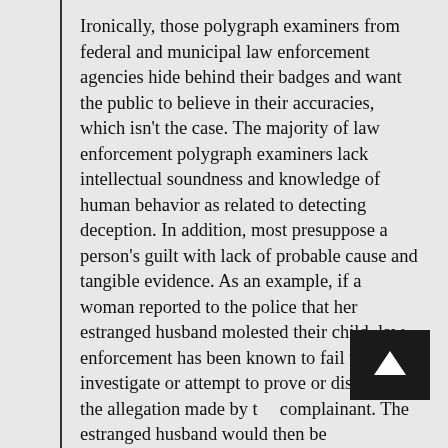Ironically, those polygraph examiners from federal and municipal law enforcement agencies hide behind their badges and want the public to believe in their accuracies, which isn't the case. The majority of law enforcement polygraph examiners lack intellectual soundness and knowledge of human behavior as related to detecting deception. In addition, most presuppose a person's guilt with lack of probable cause and tangible evidence. As an example, if a woman reported to the police that her estranged husband molested their child, law enforcement has been known to fail to investigate or attempt to prove or disprove the allegation made by the complainant. The estranged husband would then be administered a polygraph test and